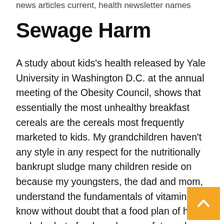news articles current, health newsletter names
Sewage Harm
A study about kids's health released by Yale University in Washington D.C. at the annual meeting of the Obesity Council, shows that essentially the most unhealthy breakfast cereals are the cereals most frequently marketed to kids. My grandchildren haven't any style in any respect for the nutritionally bankrupt sludge many children reside on because my youngsters, the dad and mom, understand the fundamentals of vitamin and know without doubt that a food plan of high carbohydrate foods makes you fats and destroys your well being they usually know why that is
As hundreds of scientists, medical doctors and